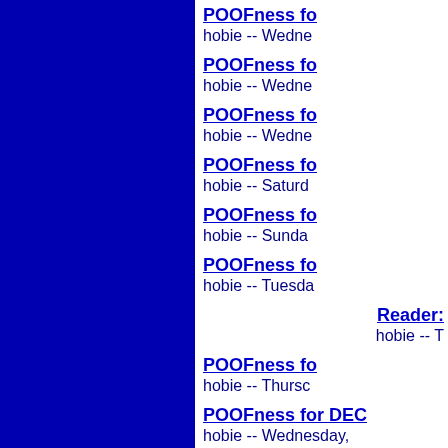[Figure (other): Solid dark blue rectangular sidebar spanning full left portion of page]
POOFness fo...
hobie -- Wedne...
POOFness fo...
hobie -- Wedne...
POOFness fo...
hobie -- Wedne...
POOFness fo...
hobie -- Saturd...
POOFness fo...
hobie -- Sunda...
POOFness fo...
hobie -- Tuesda...
Reader:...
hobie -- T...
POOFness fo...
hobie -- Thursc...
POOFness for DEC...
hobie -- Wednesday,...